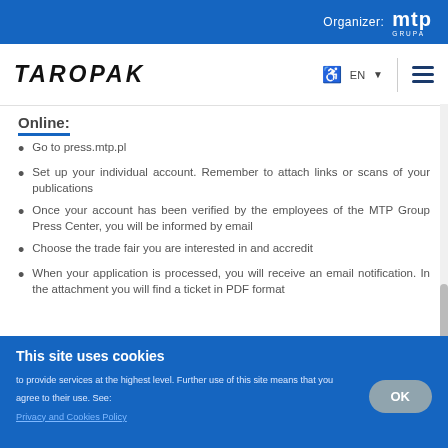Organizer: mtp GRUPA
[Figure (logo): TAROPAK logo with navigation bar including accessibility icon, EN language selector, and hamburger menu]
Online:
Go to press.mtp.pl
Set up your individual account. Remember to attach links or scans of your publications
Once your account has been verified by the employees of the MTP Group Press Center, you will be informed by email
Choose the trade fair you are interested in and accredit
When your application is processed, you will receive an email notification. In the attachment you will find a ticket in PDF format
This site uses cookies
to provide services at the highest level. Further use of this site means that you agree to their use. See: Privacy and Cookies Policy